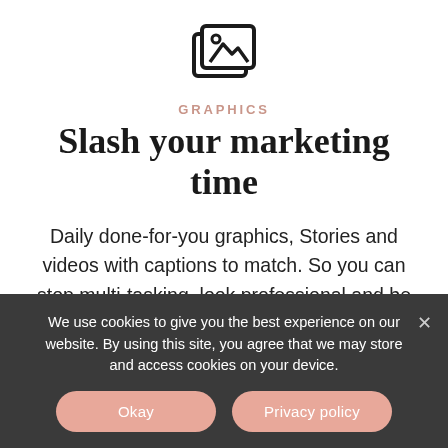[Figure (illustration): Icon showing overlapping image/photo frames with a mountain and sun pictogram inside, outlined in black]
GRAPHICS
Slash your marketing time
Daily done-for-you graphics, Stories and videos with captions to match. So you can stop multi-tasking, look professional and be confident about what you're posting
We use cookies to give you the best experience on our website. By using this site, you agree that we may store and access cookies on your device.
Okay
Privacy policy